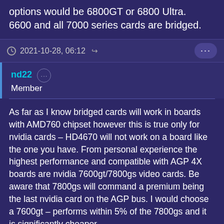options would be 6800GT or 6800 Ultra.
6600 and all 7000 series cards are bridged.
2021-10-28, 06:12
nd22
Member
As far as I know bridged cards will work in boards with AMD760 chipset however this is true only for nvidia cards – HD4670 will not work on a board like the one you have. From personal experience the highest performance and compatible with AGP 4X boards are nvidia 7600gt/7800gs video cards. Be aware that 7800gs will command a premium being the last nvidia card on the AGP bus. I would choose a 7600gt – performs within 5% of the 7800gs and it is significantly cheaper.
For Con 2 botones: geforce 7800gs provides a MAJOR boost to performance on socket 462. I would not even consider